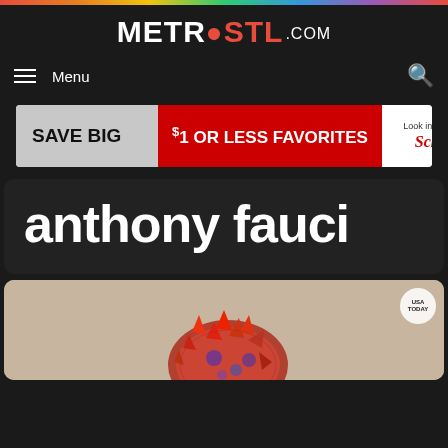[Figure (logo): MetroSTL.com website logo with rainbow top bar]
Menu
[Figure (infographic): Schnucks advertisement: SAVE BIG - $1 OR LESS FAVORITES - Look in Store & Save! Schnucks]
anthony fauci
[Figure (photo): Coronavirus particle image with USA Today badge, colorized 3D rendering on beige background]